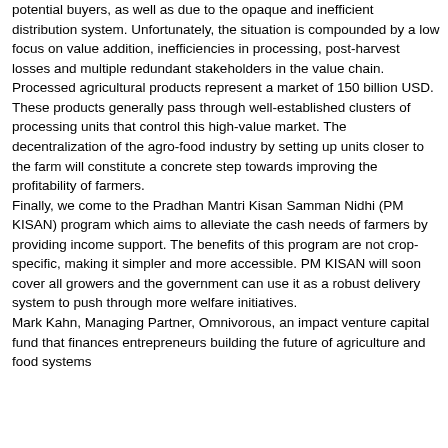potential buyers, as well as due to the opaque and inefficient distribution system. Unfortunately, the situation is compounded by a low focus on value addition, inefficiencies in processing, post-harvest losses and multiple redundant stakeholders in the value chain. Processed agricultural products represent a market of 150 billion USD. These products generally pass through well-established clusters of processing units that control this high-value market. The decentralization of the agro-food industry by setting up units closer to the farm will constitute a concrete step towards improving the profitability of farmers. Finally, we come to the Pradhan Mantri Kisan Samman Nidhi (PM KISAN) program which aims to alleviate the cash needs of farmers by providing income support. The benefits of this program are not crop-specific, making it simpler and more accessible. PM KISAN will soon cover all growers and the government can use it as a robust delivery system to push through more welfare initiatives. Mark Kahn, Managing Partner, Omnivorous, an impact venture capital fund that finances entrepreneurs building the future of agriculture and food systems